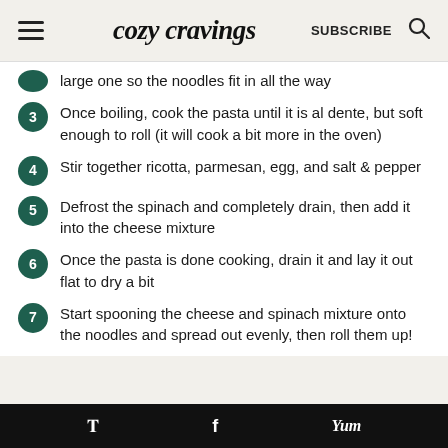cozy cravings — SUBSCRIBE
large one so the noodles fit in all the way
3 — Once boiling, cook the pasta until it is al dente, but soft enough to roll (it will cook a bit more in the oven)
4 — Stir together ricotta, parmesan, egg, and salt & pepper
5 — Defrost the spinach and completely drain, then add it into the cheese mixture
6 — Once the pasta is done cooking, drain it and lay it out flat to dry a bit
7 — Start spooning the cheese and spinach mixture onto the noodles and spread out evenly, then roll them up!
Pinterest | Facebook | Yum